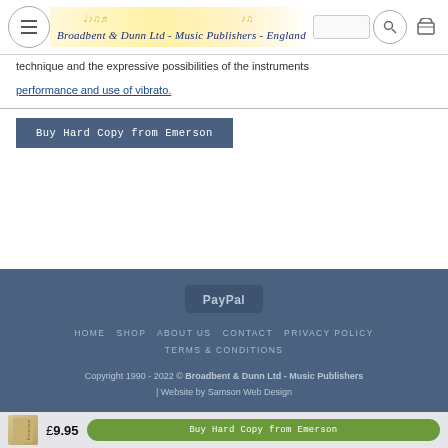Broadbent & Dunn Ltd - Music Publishers - England
technique and the expressive possibilities of the instruments
performance and use of vibrato.
Buy Hard Copy from Emerson
[Figure (logo): PayPal logo button]
HOME  SHOP  ABOUT US  CONTACT  PRIVACY POLICY  TERMS & CONDITIONS
Copyright 1990 - 2022 © Broadbent & Dunn Ltd - Music Publishers | Website by Samson Web Design
£9.95  Buy Hard Copy from Emerson